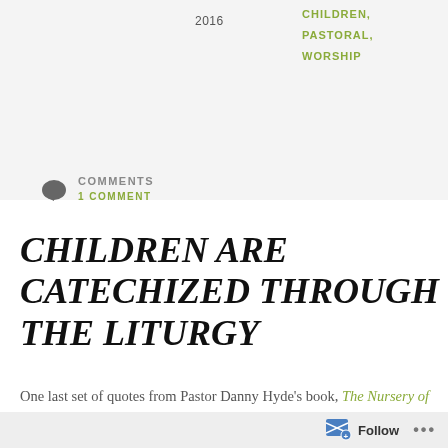2016
CHILDREN,
PASTORAL,
WORSHIP
COMMENTS
1 COMMENT
CHILDREN ARE CATECHIZED THROUGH THE LITURGY
One last set of quotes from Pastor Danny Hyde's book, The Nursery of the Holy Spirit.  In this section of
Follow